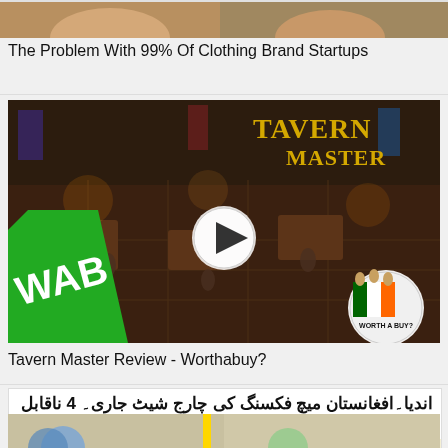[Figure (screenshot): Partial top image strip showing a cropped thumbnail of a clothing brand video]
The Problem With 99% Of Clothing Brand Startups
[Figure (screenshot): Tavern Master game review thumbnail with isometric tavern interior, WAB green logo on lower left, Worth a Buy circular badge on lower right, TAVERN MASTER gold text on upper right, play button overlay in center]
Tavern Master Review - Worthabuy?
[Figure (screenshot): Urdu language news card: India-Afghanistan match fixing charge sheet released - 4 irrefutable pieces of evidence. Sub-headline: Asghar Afghan decided to quit cricket instead of fixing the match.]
[Figure (screenshot): Bottom partial image strip showing cropped thumbnails]